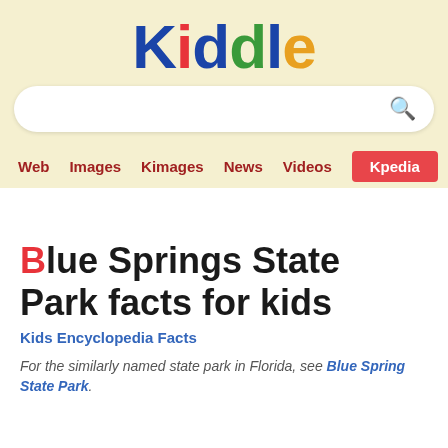[Figure (logo): Kiddle logo with colorful letters: K(blue), i(red), d(blue), d(green), l(blue), e(yellow) on a cream/beige background]
[Figure (screenshot): Search bar with rounded corners and a search (magnifying glass) icon on the right]
Web  Images  Kimages  News  Videos  Kpedia
Blue Springs State Park facts for kids
Kids Encyclopedia Facts
For the similarly named state park in Florida, see Blue Spring State Park.